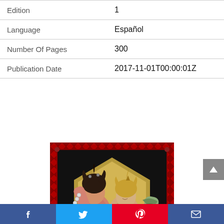|  |  |
| --- | --- |
| Edition | 1 |
| Language | Español |
| Number Of Pages | 300 |
| Publication Date | 2017-11-01T00:00:01Z |
[Figure (illustration): Manga book cover featuring two muscular anime characters in a red diamond-patterned border with a golden hexagonal background. Characters are depicted in a dramatic pose with elaborate clothing and accessories.]
Facebook | Twitter | Pinterest | Email